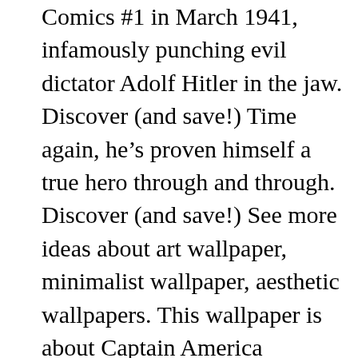Comics #1 in March 1941, infamously punching evil dictator Adolf Hitler in the jaw. Discover (and save!) Time again, he's proven himself a true hero through and through. Discover (and save!) See more ideas about art wallpaper, minimalist wallpaper, aesthetic wallpapers. This wallpaper is about Captain America minimalist wallpaper, Marvel Comics, hero, Blo0p, Download HD wallpaper for Desktop, or Mobile in best quality (4K). Mobile or Mac Book Background Image, All Content remains copyright of its original holder. TOS | Buy CafePress Captain America Minimalist Dark T Shirt 100% Cotton T-Shirt Navy: Shop top fashion brands Novelty at Amazon.com FREE DELIVERY and Returns possible on